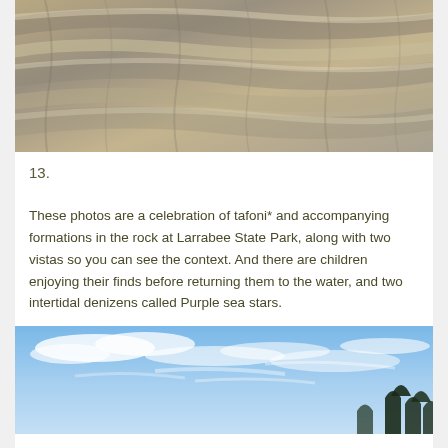[Figure (photo): Close-up photograph of layered rock surface at Larrabee State Park showing tafoni formations — diagonal ridges of tan, beige, and grey sandstone with textured weathering patterns.]
13.
These photos are a celebration of tafoni* and accompanying formations in the rock at Larrabee State Park, along with two vistas so you can see the context. And there are children enjoying their finds before returning them to the water, and two intertidal denizens called Purple sea stars.
[Figure (photo): Landscape photograph showing a bright blue sky with wispy white clouds and dark conifer tree silhouettes at the lower right edge, likely a coastal vista at Larrabee State Park.]